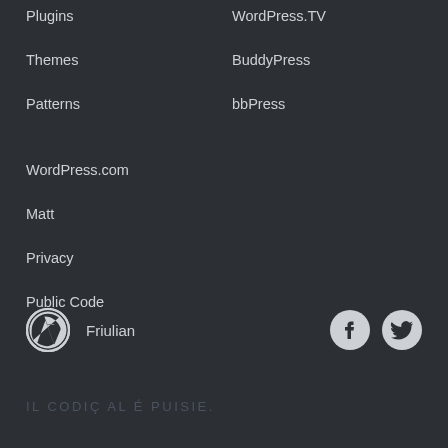Plugins
Themes
Patterns
WordPress.TV
BuddyPress
bbPress
WordPress.com
Matt
Privacy
Public Code
Friulian
IL CODIÇ AL É PUISIE.